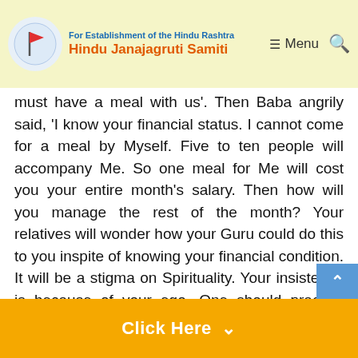For Establishment of the Hindu Rashtra | Hindu Janajagruti Samiti | Menu | Search
must have a meal with us'. Then Baba angrily said, 'I know your financial status. I cannot come for a meal by Myself. Five to ten people will accompany Me. So one meal for Me will cost you your entire month's salary. Then how will you manage the rest of the month? Your relatives will wonder how your Guru could do this to you inspite of knowing your financial condition. It will be a stigma on Spirituality. Your insistence is because of your ego. One should practice Spirituality according to one's capacity. If it is Mahārāj's prasād (Holy sacrament) that you desire then go and fetch khadīsākhar (sugar cubes) worth twenty-five paise. Distribute them to everyone and take the remaining home as the holy sacrament". Saying thus He